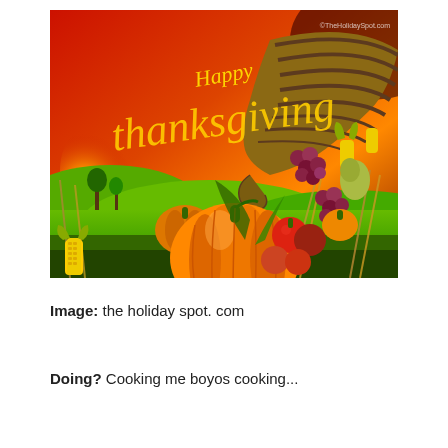[Figure (illustration): Happy Thanksgiving greeting card illustration featuring a large orange pumpkin in the foreground, a cornucopia/horn of plenty filled with autumn harvest including corn, grapes, apples, and other fruits and vegetables, green rolling hills with a sunrise in the background, with golden script text reading 'Happy Thanksgiving' overlaid on a warm red-orange sky. Watermark 'TheHolidaySpot.com' in top right corner.]
Image: the holiday spot. com
Doing?  Cooking me boyos cooking...